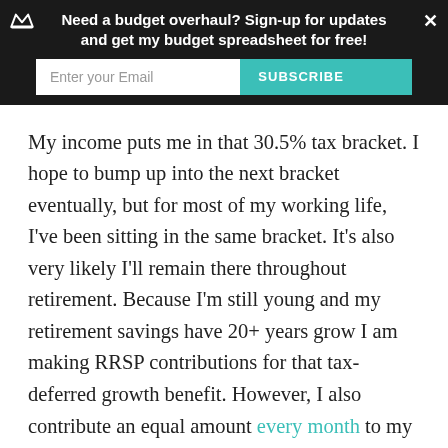Need a budget overhaul? Sign-up for updates and get my budget spreadsheet for free!
My income puts me in that 30.5% tax bracket. I hope to bump up into the next bracket eventually, but for most of my working life, I've been sitting in the same bracket. It's also very likely I'll remain there throughout retirement. Because I'm still young and my retirement savings have 20+ years grow I am making RRSP contributions for that tax-deferred growth benefit. However, I also contribute an equal amount every month to my TFSA. Best of both worlds.